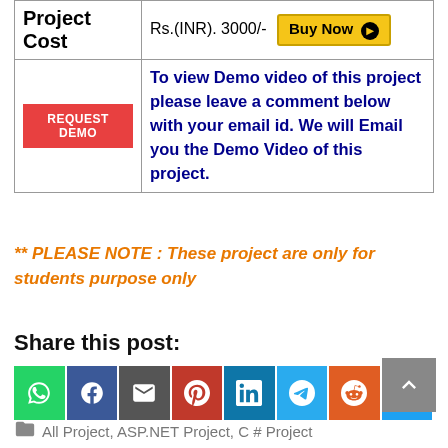|  |  |
| --- | --- |
| Project Cost | Rs.(INR). 3000/-  [Buy Now] |
| REQUEST DEMO | To view Demo video of this project please leave a comment below with your email id. We will Email you the Demo Video of this project. |
** PLEASE NOTE : These project are only for students purpose only
Share this post:
[Figure (infographic): Row of 8 social media share buttons: WhatsApp (green), Facebook (blue), Email (dark grey), Pinterest (dark red), LinkedIn (teal), Telegram (light blue), Reddit (orange), Twitter (blue)]